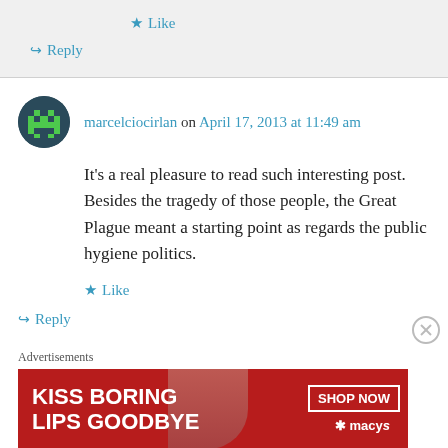★ Like
↪ Reply
marcelciocirlan on April 17, 2013 at 11:49 am
It's a real pleasure to read such interesting post. Besides the tragedy of those people, the Great Plague meant a starting point as regards the public hygiene politics.
★ Like
↪ Reply
Advertisements
[Figure (photo): Advertisement banner for Macy's: 'KISS BORING LIPS GOODBYE' with SHOP NOW button and Macy's logo on a red background with a woman's face.]